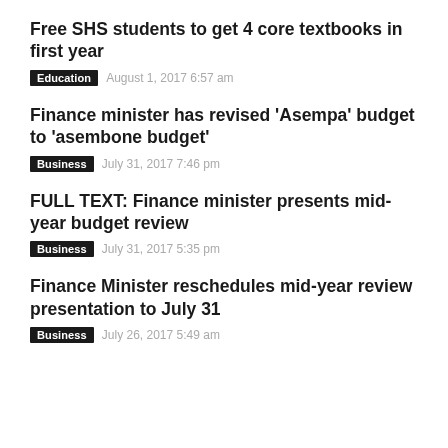Free SHS students to get 4 core textbooks in first year
Education   August 1, 2017 6:57 am
Finance minister has revised 'Asempa' budget to 'asembone budget'
Business   July 31, 2017 7:46 pm
FULL TEXT: Finance minister presents mid-year budget review
Business   July 31, 2017 5:35 pm
Finance Minister reschedules mid-year review presentation to July 31
Business   July 26, 2017 5:49 am